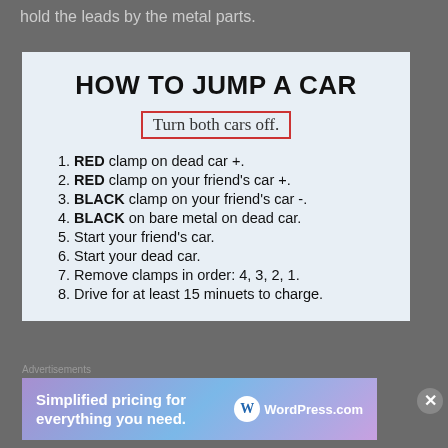hold the leads by the metal parts.
HOW TO JUMP A CAR
Turn both cars off.
1. RED clamp on dead car +.
2. RED clamp on your friend's car +.
3. BLACK clamp on your friend's car -.
4. BLACK on bare metal on dead car.
5. Start your friend's car.
6. Start your dead car.
7. Remove clamps in order: 4, 3, 2, 1.
8. Drive for at least 15 minuets to charge.
[Figure (other): WordPress.com advertisement banner: 'Simplified pricing for everything you need.' with WordPress.com logo]